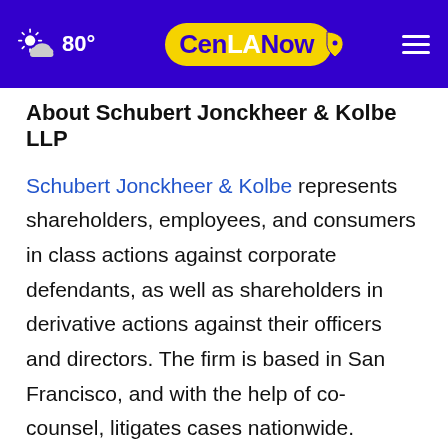80° CenLANow
About Schubert Jonckheer & Kolbe LLP
Schubert Jonckheer & Kolbe represents shareholders, employees, and consumers in class actions against corporate defendants, as well as shareholders in derivative actions against their officers and directors. The firm is based in San Francisco, and with the help of co-counsel, litigates cases nationwide.
Contact
Willem F. Jonckheer